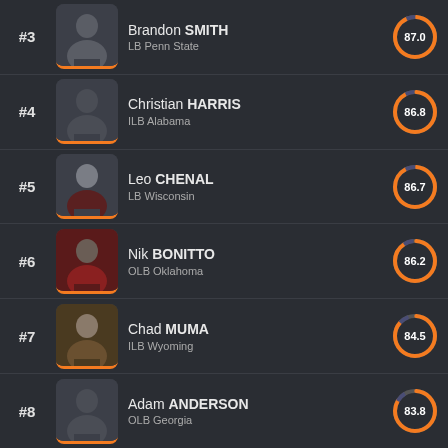#3 Brandon SMITH, LB Penn State, 87.0
#4 Christian HARRIS, ILB Alabama, 86.8
#5 Leo CHENAL, LB Wisconsin, 86.7
#6 Nik BONITTO, OLB Oklahoma, 86.2
#7 Chad MUMA, ILB Wyoming, 84.5
#8 Adam ANDERSON, OLB Georgia, 83.8